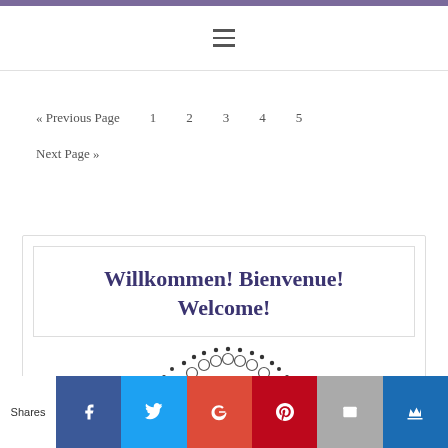≡
« Previous Page   1   2   3   4   5
Next Page »
Willkommen! Bienvenue! Welcome!
[Figure (illustration): Decorative arc of dots and circles above a colorful image (purple, blue, orange colors visible at bottom)]
Shares  [Facebook] [Twitter] [Google+] [Pinterest] [Email] [Crown]